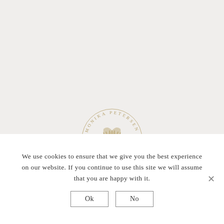[Figure (logo): Monika Petersen Fine Art Prints circular logo with a decorative leaf/fan palm botanical illustration in gold/tan color, text reading MONIKA PETERSEN arched around top and FINE ART PRINTS arched around bottom, with decorative dots]
We use cookies to ensure that we give you the best experience on our website. If you continue to use this site we will assume that you are happy with it.